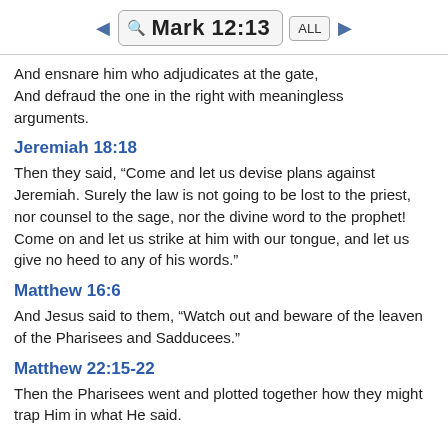Mark 12:13
And ensnare him who adjudicates at the gate, And defraud the one in the right with meaningless arguments.
Jeremiah 18:18
Then they said, “Come and let us devise plans against Jeremiah. Surely the law is not going to be lost to the priest, nor counsel to the sage, nor the divine word to the prophet! Come on and let us strike at him with our tongue, and let us give no heed to any of his words.”
Matthew 16:6
And Jesus said to them, “Watch out and beware of the leaven of the Pharisees and Sadducees.”
Matthew 22:15-22
Then the Pharisees went and plotted together how they might trap Him in what He said.